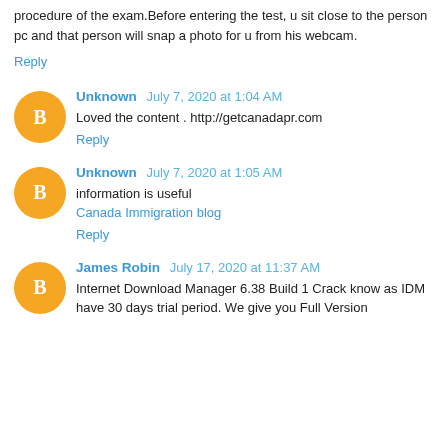procedure of the exam.Before entering the test, u sit close to the person pc and that person will snap a photo for u from his webcam.
Reply
Unknown July 7, 2020 at 1:04 AM
Loved the content . http://getcanadapr.com
Reply
Unknown July 7, 2020 at 1:05 AM
information is useful
Canada Immigration blog
Reply
James Robin July 17, 2020 at 11:37 AM
Internet Download Manager 6.38 Build 1 Crack know as IDM have 30 days trial period. We give you Full Version